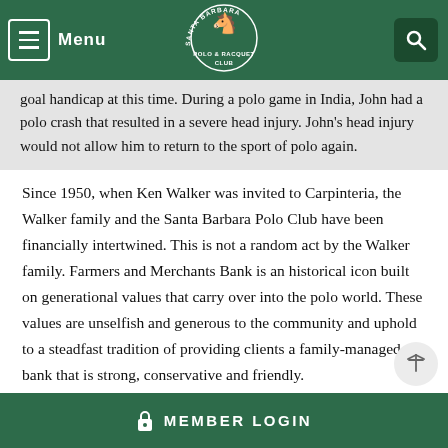Santa Barbara Polo & Racquet Club - Menu / Search navigation header
goal handicap at this time. During a polo game in India, John had a polo crash that resulted in a severe head injury. John's head injury would not allow him to return to the sport of polo again.
Since 1950, when Ken Walker was invited to Carpinteria, the Walker family and the Santa Barbara Polo Club have been financially intertwined. This is not a random act by the Walker family. Farmers and Merchants Bank is an historical icon built on generational values that carry over into the polo world. These values are unselfish and generous to the community and uphold to a steadfast tradition of providing clients a family-managed bank that is strong, conservative and friendly.
MEMBER LOGIN